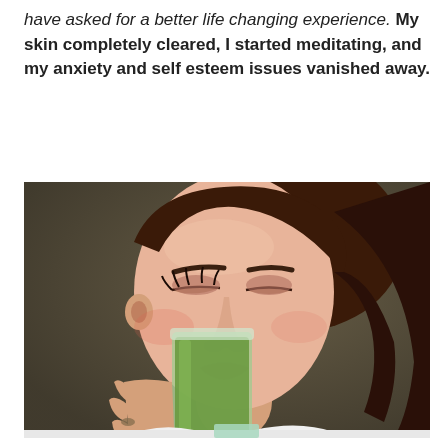have asked for a better life changing experience. My skin completely cleared, I started meditating, and my anxiety and self esteem issues vanished away.
[Figure (photo): A woman with dark hair pulled back, wearing light makeup with smoky eyes, drinking green juice from a clear glass. She is wearing a white top. The background is a muted olive-brown tone.]